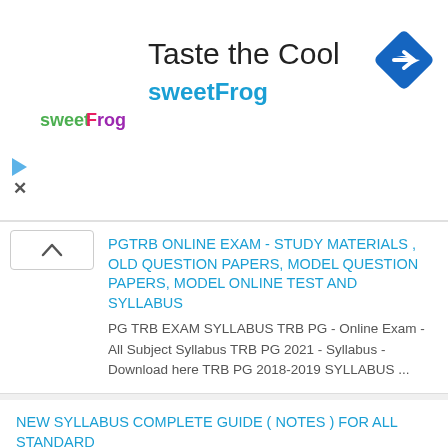[Figure (screenshot): sweetFrog ad banner with logo, 'Taste the Cool' headline, and navigation icon]
Taste the Cool
sweetFrog
PGTRB ONLINE EXAM - STUDY MATERIALS , OLD QUESTION PAPERS, MODEL QUESTION PAPERS, MODEL ONLINE TEST AND SYLLABUS
PG  TRB EXAM SYLLABUS TRB PG - Online Exam - All Subject Syllabus TRB PG 2021 - Syllabus - Download here TRB PG 2018-2019 SYLLABUS ...
NEW SYLLABUS COMPLETE GUIDE ( NOTES ) FOR ALL STANDARD
New Syllabus Complete Guide ( Notes ) New Syllabus Complete Guide 2019 - 20 ( Notes )  for All Standard - Pdf File
IMPORTANT FORMS FOR TEACHERS & STUDENTS
What's New School Special Visit Format - Download here Forum Ezhuthum Lesson Plan ...